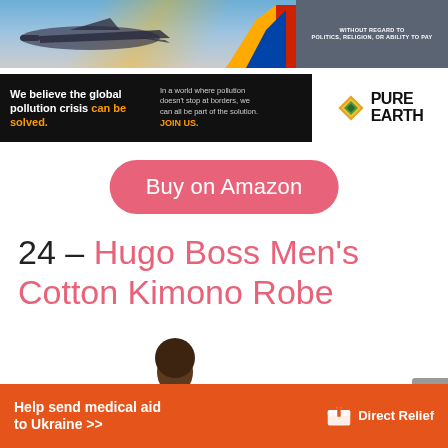[Figure (photo): Airline cargo advertisement banner with airplane on tarmac and text 'WITHOUT REGARD TO POLITICS, RELIGION, OR ABILITY TO PAY']
[Figure (photo): Pure Earth advertisement: black background with text 'We believe the global pollution crisis can be solved.' and 'In a world where pollution doesn't stop at borders, we can all be part of the solution. JOIN US.' with Pure Earth logo on white background]
[Figure (other): Pink rounded button with text 'Buy on Amazon']
24 – Hugo Boss Men's Cotton Kimono Robe
[Figure (photo): Man wearing dark navy Hugo Boss kimono robe, upper body visible]
[Figure (other): Direct Relief advertisement banner: orange background with white text 'Help send medical aid to Ukraine >>' and Direct Relief logo]